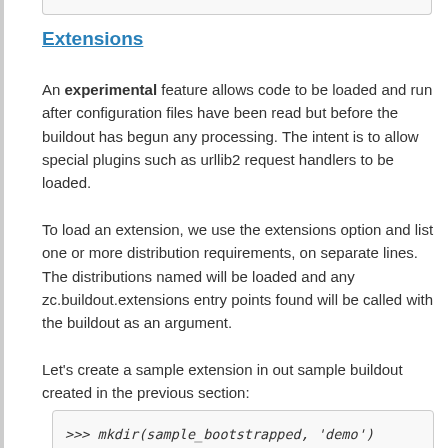Extensions
An experimental feature allows code to be loaded and run after configuration files have been read but before the buildout has begun any processing. The intent is to allow special plugins such as urllib2 request handlers to be loaded.
To load an extension, we use the extensions option and list one or more distribution requirements, on separate lines. The distributions named will be loaded and any zc.buildout.extensions entry points found will be called with the buildout as an argument.
Let's create a sample extension in out sample buildout created in the previous section:
>>> mkdir(sample_bootstrapped, 'demo')